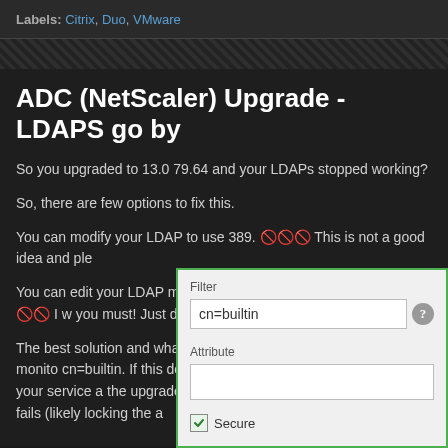Labels: Citrix, Duo, VMware
ADC (NetScaler) Upgrade - LDAPS go by
So you upgraded to 13.0 79.64 and your LDAPs stopped working?
So, there are few options to fix this.
You can modify your LDAP to use 389. 🚫🚫🚫 This is not a good idea and ple
You can edit your LDAP monitor and remove the secure checkbox. 🚫🚫 I w you must! Just don't tell anyone that I said it.
The best solution and what worked for me is to make sure in your monito cn=builtin. If this doesn't fix the issue, then also make sure your service a the upgrade, the monitor tries to do its job and it fails (likely locking the a
[Figure (screenshot): Screenshot of a form with Filter field containing 'cn=builtin', an Attribute field (empty), and a Secure checkbox row. The form has a green border highlight on the Filter section.]